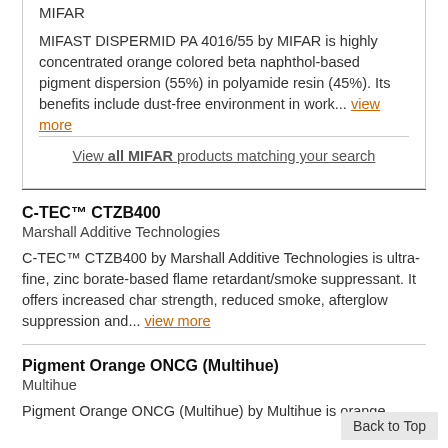MIFAR
MIFAST DISPERMID PA 4016/55 by MIFAR is highly concentrated orange colored beta naphthol-based pigment dispersion (55%) in polyamide resin (45%). Its benefits include dust-free environment in work... view more
View all MIFAR products matching your search
C-TEC™ CTZB400
Marshall Additive Technologies
C-TEC™ CTZB400 by Marshall Additive Technologies is ultra-fine, zinc borate-based flame retardant/smoke suppressant. It offers increased char strength, reduced smoke, afterglow suppression and... view more
Pigment Orange ONCG (Multihue)
Multihue
Pigment Orange ONCG (Multihue) by Multihue is orange
Back to Top